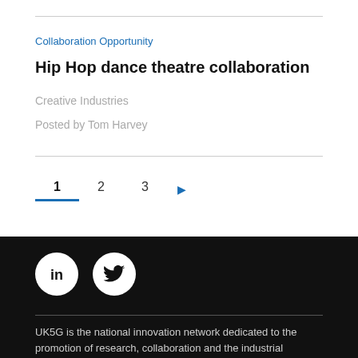Collaboration Opportunity
Hip Hop dance theatre collaboration
Creative Industries
Posted by Tom Harvey
1
2
3
[Figure (logo): LinkedIn logo icon in white circle on black background]
[Figure (logo): Twitter bird logo icon in white circle on black background]
UK5G is the national innovation network dedicated to the promotion of research, collaboration and the industrial